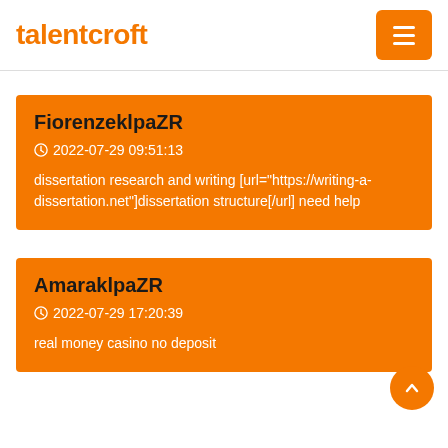talentcroft
FiorenzeklpaZR
2022-07-29 09:51:13
dissertation research and writing [url="https://writing-a-dissertation.net"]dissertation structure[/url] need help
AmaraklpaZR
2022-07-29 17:20:39
real money casino no deposit